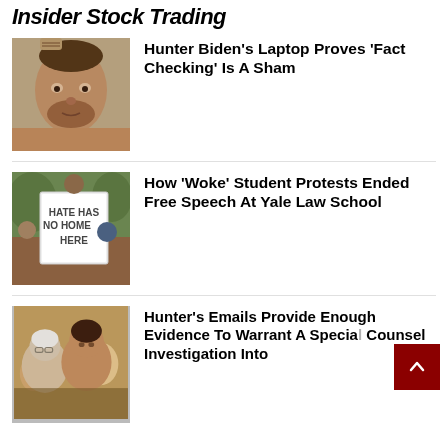Insider Stock Trading
[Figure (photo): Close-up portrait of a man with stubble and tattoos on his hand]
Hunter Biden's Laptop Proves 'Fact Checking' Is A Sham
[Figure (photo): Protesters holding a sign reading HATE HAS NO HOME HERE]
How 'Woke' Student Protests Ended Free Speech At Yale Law School
[Figure (photo): Two older men close together in a crowd]
Hunter's Emails Provide Enough Evidence To Warrant A Special Counsel Investigation Into